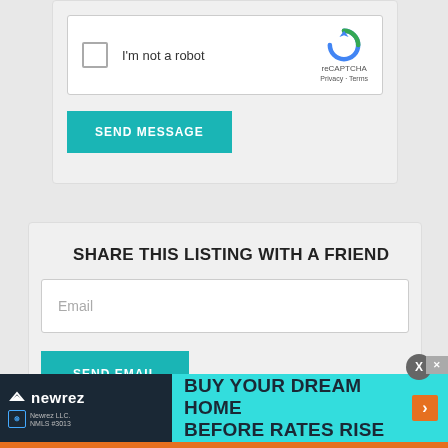[Figure (screenshot): reCAPTCHA widget with checkbox labeled I'm not a robot]
SEND MESSAGE
SHARE THIS LISTING WITH A FRIEND
Email
SEND EMAIL
[Figure (screenshot): Newrez advertisement: BUY YOUR DREAM HOME BEFORE RATES RISE]